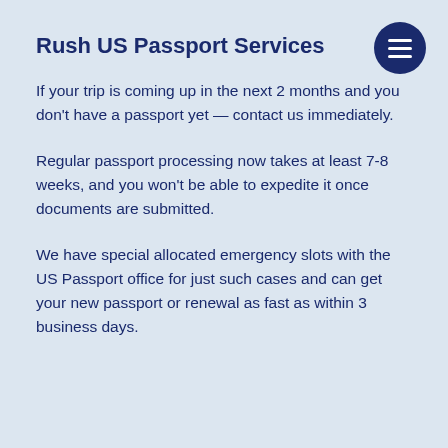Rush US Passport Services
If your trip is coming up in the next 2 months and you don't have a passport yet — contact us immediately.
Regular passport processing now takes at least 7-8 weeks, and you won't be able to expedite it once documents are submitted.
We have special allocated emergency slots with the US Passport office for just such cases and can get your new passport or renewal as fast as within 3 business days.